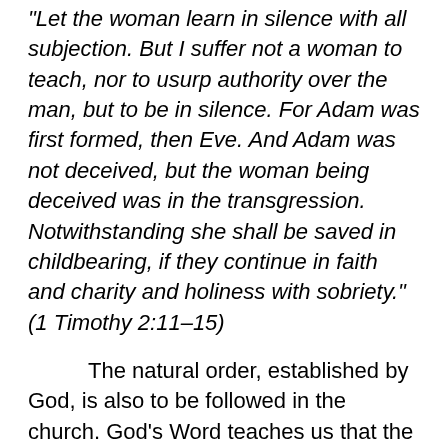"Let the woman learn in silence with all subjection. But I suffer not a woman to teach, nor to usurp authority over the man, but to be in silence. For Adam was first formed, then Eve. And Adam was not deceived, but the woman being deceived was in the transgression. Notwithstanding she shall be saved in childbearing, if they continue in faith and charity and holiness with sobriety." (1 Timothy 2:11–15)
The natural order, established by God, is also to be followed in the church. God's Word teaches us that the men should take the leadership in the church, as this is God's order